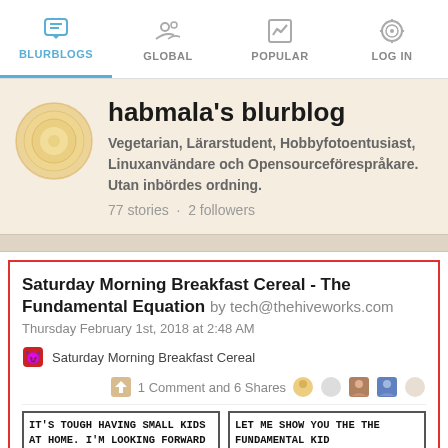BLURBLOGS | GLOBAL | POPULAR | LOG IN
habmala's blurblog
Vegetarian, Lärarstudent, Hobbyfotoentusiast, Linuxanvändare och Opensourceförespråkare. Utan inbördes ordning.
77 stories · 2 followers
Saturday Morning Breakfast Cereal - The Fundamental Equation by tech@thehiveworks.com
Thursday February 1st, 2018 at 2:48 AM
Saturday Morning Breakfast Cereal
1 Comment and 6 Shares
IT'S TOUGH HAVING SMALL KIDS AT HOME. I'M LOOKING FORWARD
LET ME SHOW YOU THE THE FUNDAMENTAL KID